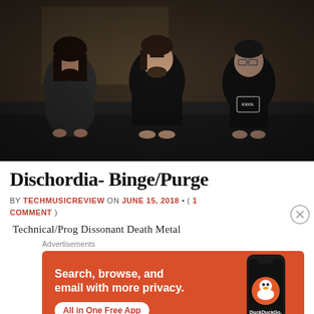[Figure (photo): Three men sitting on a dark leather couch in a dimly lit room. Left man has long hair and beard with a graphic t-shirt, center man has shorter hair and beard in a black t-shirt, right man has glasses and wears a black t-shirt with a logo reading 'EXIOL'.]
Dischordia- Binge/Purge
BY TECHMUSICREVIEW ON JUNE 15, 2018 • ( 1 COMMENT )
Technical/Prog Dissonant Death Metal
Advertisements
[Figure (infographic): DuckDuckGo advertisement banner. Orange/red background. Text: 'Search, browse, and email with more privacy. All in One Free App'. Shows a smartphone with DuckDuckGo logo and branding.]